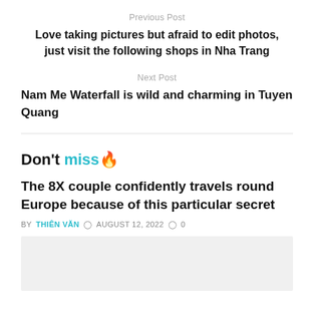Previous Post
Love taking pictures but afraid to edit photos, just visit the following shops in Nha Trang
Next Post
Nam Me Waterfall is wild and charming in Tuyen Quang
Don't miss🔥
The 8X couple confidently travels round Europe because of this particular secret
BY THIÊN VĂN  🕐 AUGUST 12, 2022  💬 0
[Figure (photo): Article thumbnail image placeholder (light gray rectangle)]